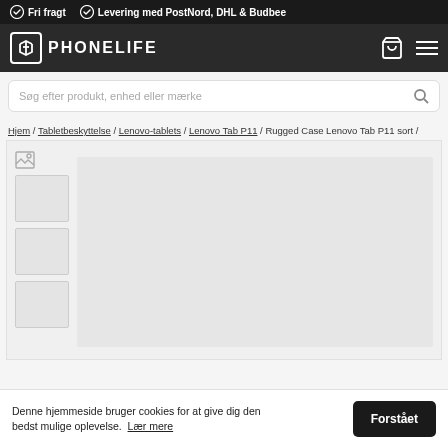Fri fragt  Levering med PostNord, DHL & Budbee
[Figure (logo): Phonelife logo with nav icons (bag and menu)]
Søg efter produkt, enhed eller mærke
Hjem / Tabletbeskyttelse / Lenovo-tablets / Lenovo Tab P11 / Rugged Case Lenovo Tab P11 sort /
[Figure (photo): Product image area with broken image icon and thumbnail strip, main placeholder area.]
Denne hjemmeside bruger cookies for at give dig den bedst mulige oplevelse. Lær mere